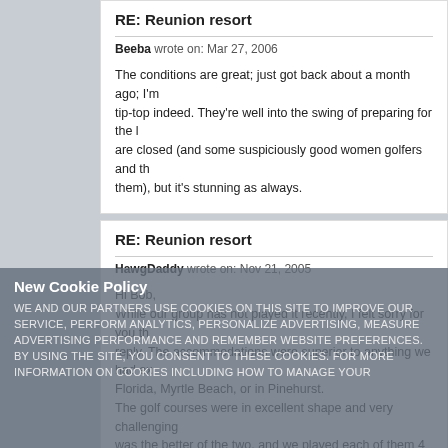RE: Reunion resort
Beeba wrote on: Mar 27, 2006
The conditions are great; just got back about a month ago; I'm tip-top indeed. They're well into the swing of preparing for the L are closed (and some suspiciously good women golfers and th them), but it's stunning as always.
RE: Reunion resort
HawgDaddy wrote on: Nov 21, 2005
Hi Bob, While our group has not played it recently, I felt sorry for you th reply. The accommodations were superior to anything we had ex Florida, Myrtle Beach, or in Pinehurst. The golf courses were in excellent shape and very challenging was the better of the two, and we played each of them 4 times. We are returning in mid-March of '06. The only thing that I did not like was the location of quite a few
New Cookie Policy WE AND OUR PARTNERS USE COOKIES ON THIS SITE TO IMPROVE OUR SERVICE, PERFORM ANALYTICS, PERSONALIZE ADVERTISING, MEASURE ADVERTISING PERFORMANCE AND REMEMBER WEBSITE PREFERENCES. BY USING THE SITE, YOU CONSENT TO THESE COOKIES. FOR MORE INFORMATION ON COOKIES INCLUDING HOW TO MANAGE YOUR